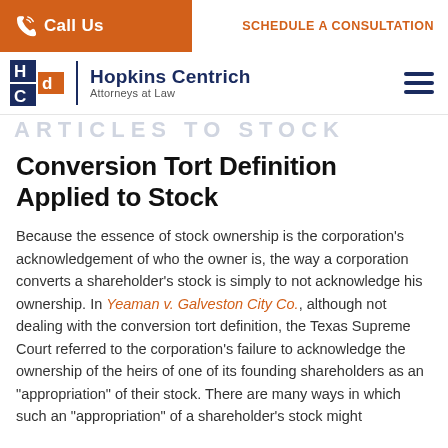Call Us | SCHEDULE A CONSULTATION
[Figure (logo): Hopkins Centrich Attorneys at Law logo with stylized HC monogram]
ARTICLES TO STOCK
Conversion Tort Definition Applied to Stock
Because the essence of stock ownership is the corporation's acknowledgement of who the owner is, the way a corporation converts a shareholder's stock is simply to not acknowledge his ownership. In Yeaman v. Galveston City Co., although not dealing with the conversion tort definition, the Texas Supreme Court referred to the corporation's failure to acknowledge the ownership of the heirs of one of its founding shareholders as an "appropriation" of their stock. There are many ways in which such an "appropriation" of a shareholder's stock might